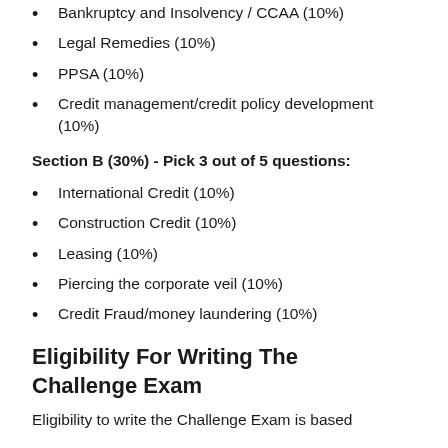Bankruptcy and Insolvency / CCAA (10%)
Legal Remedies (10%)
PPSA (10%)
Credit management/credit policy development (10%)
Section B (30%) - Pick 3 out of 5 questions:
International Credit (10%)
Construction Credit (10%)
Leasing (10%)
Piercing the corporate veil (10%)
Credit Fraud/money laundering (10%)
Eligibility For Writing The Challenge Exam
Eligibility to write the Challenge Exam is based